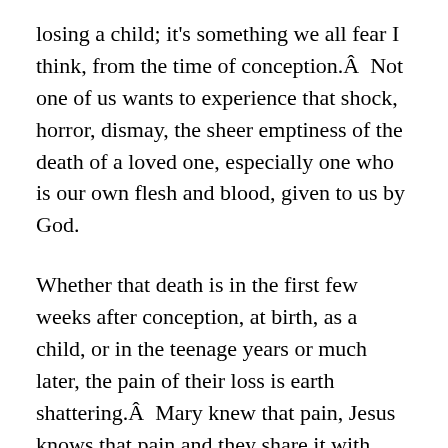losing a child; it’s something we all fear I think, from the time of conception.  Not one of us wants to experience that shock, horror, dismay, the sheer emptiness of the death of a loved one, especially one who is our own flesh and blood, given to us by God.
Whether that death is in the first few weeks after conception, at birth, as a child, or in the teenage years or much later, the pain of their loss is earth shattering.  Mary knew that pain, Jesus knows that pain and they share it with you.  They went through it for an important reason that we still find difficult to comprehend.  Because of the suffering and death of Jesus we have hope.